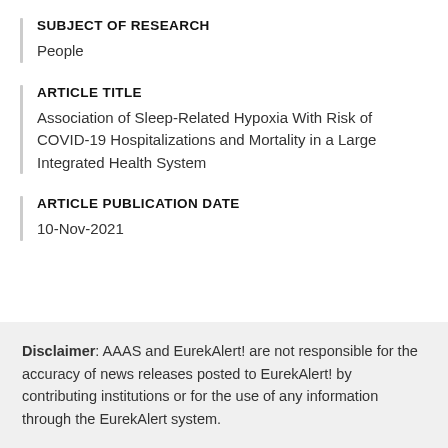SUBJECT OF RESEARCH
People
ARTICLE TITLE
Association of Sleep-Related Hypoxia With Risk of COVID-19 Hospitalizations and Mortality in a Large Integrated Health System
ARTICLE PUBLICATION DATE
10-Nov-2021
Disclaimer: AAAS and EurekAlert! are not responsible for the accuracy of news releases posted to EurekAlert! by contributing institutions or for the use of any information through the EurekAlert system.